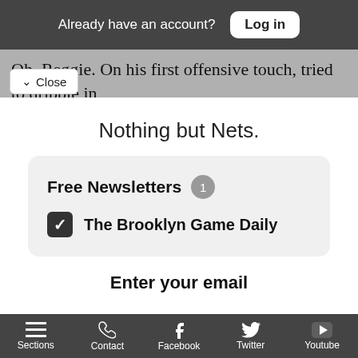Already have an account? Log in
Oh, Reggie. On his first offensive touch, tried to dribble in [text cut off] nd lost the ball. Did get his requisite rebounds and [text cut off] rt of the third quarter push but he needs to know...
Nothing but Nets.
Free Newsletters 1
The Brooklyn Game Daily
Enter your email
Sections  Contact  Facebook  Twitter  Youtube